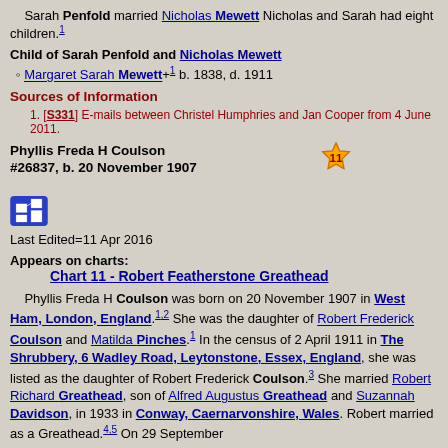Sarah Penfold married Nicholas Mewett Nicholas and Sarah had eight children.[1]
Child of Sarah Penfold and Nicholas Mewett
Margaret Sarah Mewett+[1] b. 1838, d. 1911
Sources of Information
1. [S331] E-mails between Christel Humphries and Jan Cooper from 4 June 2011.
Phyllis Freda H Coulson #26837, b. 20 November 1907
[Figure (infographic): Number 11 icon in orange/yellow]
[Figure (infographic): Blue pedigree/family tree chart icon]
Last Edited=11 Apr 2016
Appears on charts:
Chart 11 - Robert Featherstone Greathead
Phyllis Freda H Coulson was born on 20 November 1907 in West Ham, London, England.[1,2] She was the daughter of Robert Frederick Coulson and Matilda Pinches.[1] In the census of 2 April 1911 in The Shrubbery, 6 Wadley Road, Leytonstone, Essex, England, she was listed as the daughter of Robert Frederick Coulson.[3] She married Robert Richard Greathead, son of Alfred Augustus Greathead and Suzannah Davidson, in 1933 in Conway, Caernarvonshire, Wales. Robert married as a Greathead.[4,5] On 29 September